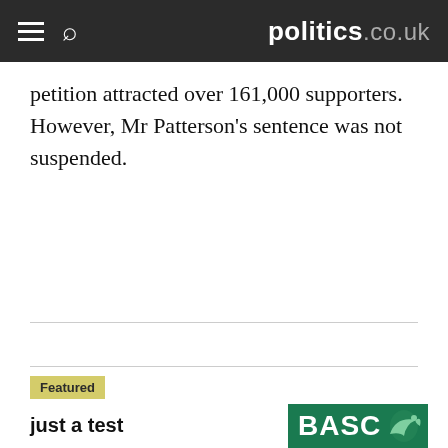politics.co.uk
petition attracted over 161,000 supporters. However, Mr Patterson's sentence was not suspended.
Featured
just a test
[Figure (logo): BASC logo — green background with white bold text 'BASC' and a bird silhouette]
Featured
10,000 children try taste of venison